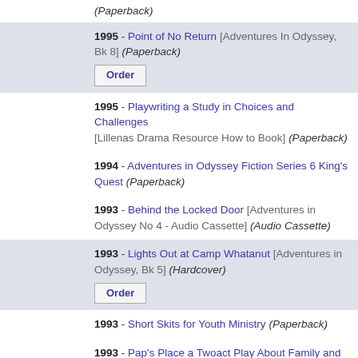(Paperback)
1995 - Point of No Return [Adventures In Odyssey, Bk 8] (Paperback)
1995 - Playwriting a Study in Choices and Challenges [Lillenas Drama Resource How to Book] (Paperback)
1994 - Adventures in Odyssey Fiction Series 6 King's Quest (Paperback)
1993 - Behind the Locked Door [Adventures in Odyssey No 4 - Audio Cassette] (Audio Cassette)
1993 - Lights Out at Camp Whatanut [Adventures in Odyssey, Bk 5] (Hardcover)
1993 - Short Skits for Youth Ministry (Paperback)
1993 - Pap's Place a Twoact Play About Family and Change (Paperback)